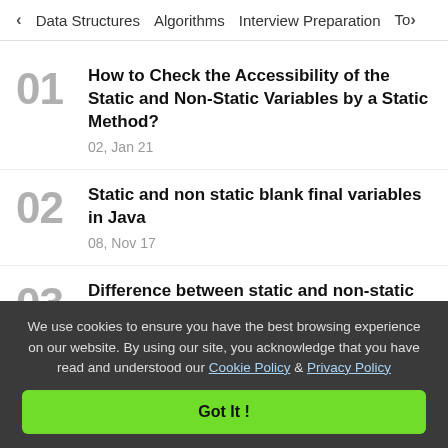< Data Structures   Algorithms   Interview Preparation   To>
How to Check the Accessibility of the Static and Non-Static Variables by a Static Method?
02, Jan 21
Static and non static blank final variables in Java
08, Nov 17
Difference between static and non-static variables in Java
03, Apr 19
We use cookies to ensure you have the best browsing experience on our website. By using our site, you acknowledge that you have read and understood our Cookie Policy & Privacy Policy
Got It !